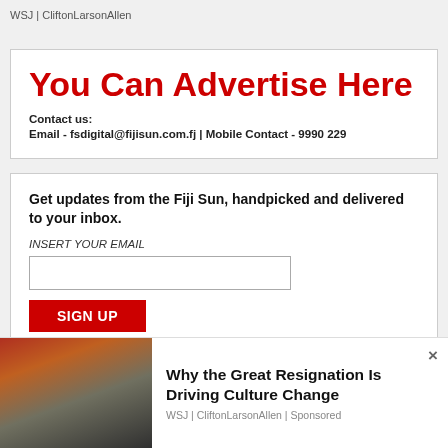WSJ | CliftonLarsonAllen
[Figure (infographic): Advertisement box: You Can Advertise Here. Contact us: Email - fsdigital@fijisun.com.fj | Mobile Contact - 9990 229]
Get updates from the Fiji Sun, handpicked and delivered to your inbox.
INSERT YOUR EMAIL
SIGN UP
By entering your email address you're giving us permission to
[Figure (photo): Sponsored ad overlay: photo of smiling man on phone. Why the Great Resignation Is Driving Culture Change. WSJ | CliftonLarsonAllen | Sponsored]